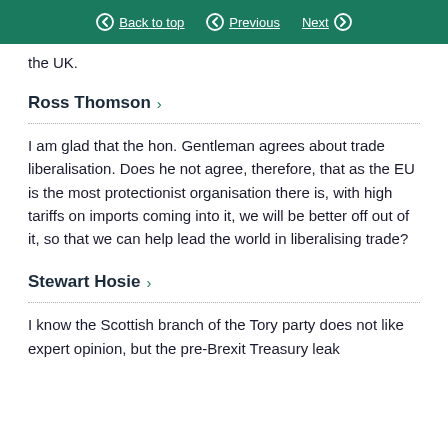Back to top | Previous | Next
the UK.
Ross Thomson
I am glad that the hon. Gentleman agrees about trade liberalisation. Does he not agree, therefore, that as the EU is the most protectionist organisation there is, with high tariffs on imports coming into it, we will be better off out of it, so that we can help lead the world in liberalising trade?
Stewart Hosie
I know the Scottish branch of the Tory party does not like expert opinion, but the pre-Brexit Treasury leak